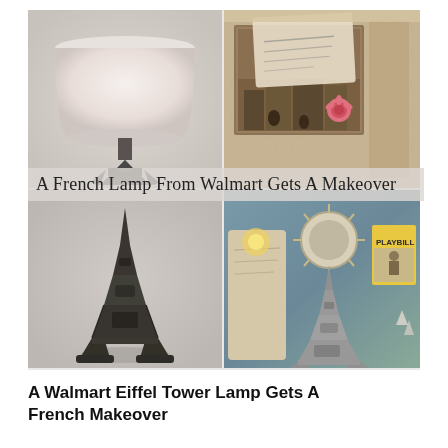[Figure (photo): A 2x2 photo collage showing: top-left: a French-style lamp with white drum shade and dark Eiffel Tower base; top-right: Paris-themed postcard and photo arrangement with a pink rose; bottom-left: a dark/black Eiffel Tower lamp base figurine; bottom-right: a silver Eiffel Tower figurine surrounded by decorative items including a Playbill and map print. An overlaid text banner reads 'A French Lamp From Walmart Gets A Makeover'.]
A Walmart Eiffel Tower Lamp Gets A French Makeover